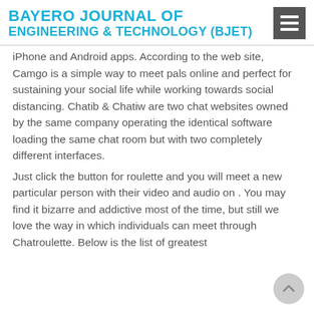BAYERO JOURNAL OF ENGINEERING & TECHNOLOGY (BJET)
iPhone and Android apps. According to the web site, Camgo is a simple way to meet pals online and perfect for sustaining your social life while working towards social distancing. Chatib & Chatiw are two chat websites owned by the same company operating the identical software loading the same chat room but with two completely different interfaces.
Just click the button for roulette and you will meet a new particular person with their video and audio on . You may find it bizarre and addictive most of the time, but still we love the way in which individuals can meet through Chatroulette. Below is the list of greatest